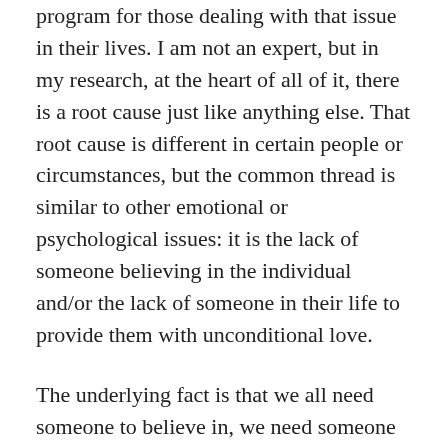program for those dealing with that issue in their lives. I am not an expert, but in my research, at the heart of all of it, there is a root cause just like anything else. That root cause is different in certain people or circumstances, but the common thread is similar to other emotional or psychological issues: it is the lack of someone believing in the individual and/or the lack of someone in their life to provide them with unconditional love.
The underlying fact is that we all need someone to believe in, we need someone we can look up to, and we need someone who believes in us. Many people lack the spiritual connectedness in an increasingly noisy world filled with distractions, to take the time to understand that when we do not have that person in our lives, God fills that role for us. God is always